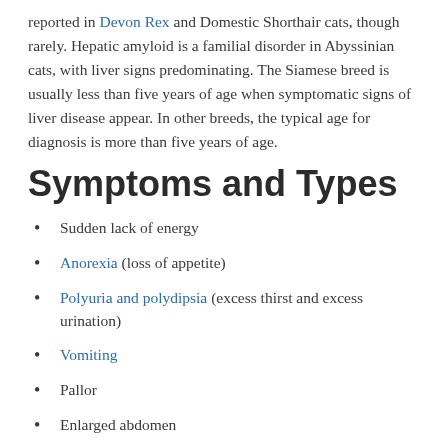reported in Devon Rex and Domestic Shorthair cats, though rarely. Hepatic amyloid is a familial disorder in Abyssinian cats, with liver signs predominating. The Siamese breed is usually less than five years of age when symptomatic signs of liver disease appear. In other breeds, the typical age for diagnosis is more than five years of age.
Symptoms and Types
Sudden lack of energy
Anorexia (loss of appetite)
Polyuria and polydipsia (excess thirst and excess urination)
Vomiting
Pallor
Enlarged abdomen
Abdominal fluid – blood or clear fluid